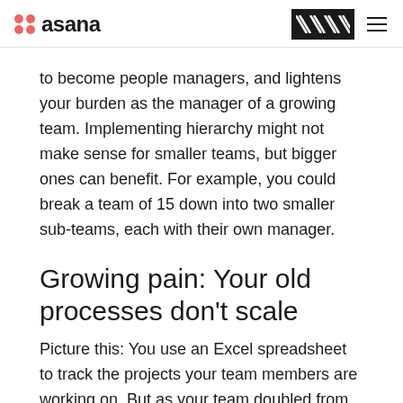asana [navigation]
to become people managers, and lightens your burden as the manager of a growing team. Implementing hierarchy might not make sense for smaller teams, but bigger ones can benefit. For example, you could break a team of 15 down into two smaller sub-teams, each with their own manager.
Growing pain: Your old processes don't scale
Picture this: You use an Excel spreadsheet to track the projects your team members are working on. But as your team doubled from around 10...